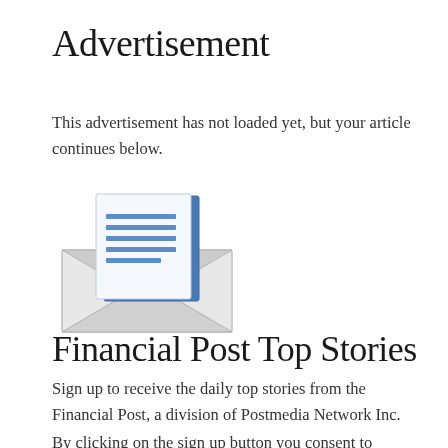Advertisement
This advertisement has not loaded yet, but your article continues below.
[Figure (illustration): An envelope icon with a letter/document sticking out of the top, in shades of blue, grey and white.]
Financial Post Top Stories
Sign up to receive the daily top stories from the Financial Post, a division of Postmedia Network Inc.
By clicking on the sign up button you consent to receive